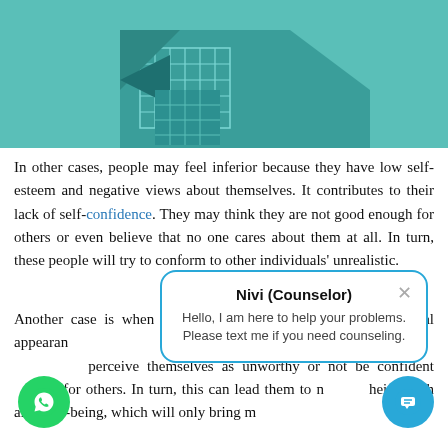[Figure (illustration): Teal/mint background with abstract geometric building or figure illustration in darker teal tones with grid-pattern windows]
In other cases, people may feel inferior because they have low self-esteem and negative views about themselves. It contributes to their lack of self-confidence. They may think they are not good enough for others or even believe that no one cares about them at all. In turn, these people will try to conform to other individuals' unrealistic.
Another case is when the i... someone's physical appearan... people who don't feel good a... perceive themselves as unworthy or not be confident h for others. In turn, this can lead them to n... their health and well-being, which will only bring m...
[Figure (screenshot): Chat popup overlay with blue border showing Nivi (Counselor) with message: Hello, I am here to help your problems. Please text me if you need counseling. Has an X close button.]